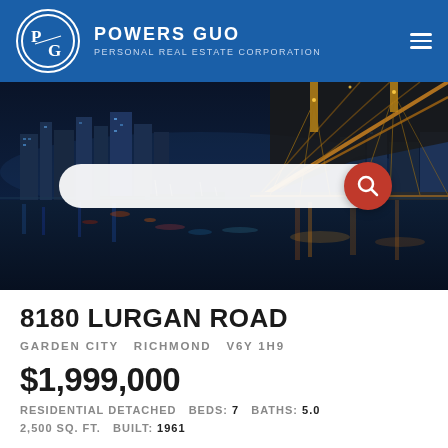POWERS GUO PERSONAL REAL ESTATE CORPORATION
[Figure (photo): Night cityscape with bridge and downtown skyline with water reflections, Vancouver BC]
8180 LURGAN ROAD
GARDEN CITY  RICHMOND  V6Y 1H9
$1,999,000
RESIDENTIAL DETACHED  BEDS: 7  BATHS: 5.0  2,500 SQ. FT.  BUILT: 1961